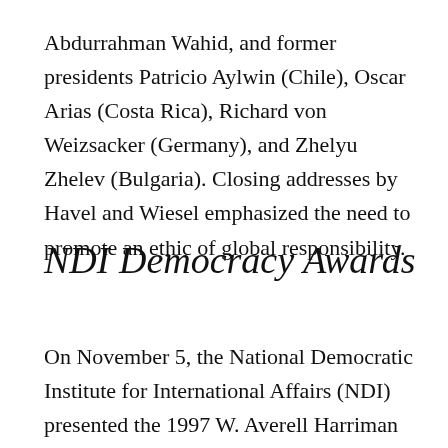Abdurrahman Wahid, and former presidents Patricio Aylwin (Chile), Oscar Arias (Costa Rica), Richard von Weizsacker (Germany), and Zhelyu Zhelev (Bulgaria). Closing addresses by Havel and Wiesel emphasized the need to promote an ethic of global responsibility.
NDI Democracy Awards
On November 5, the National Democratic Institute for International Affairs (NDI) presented the 1997 W. Averell Harriman Democracy Award to Senator Edward M. Kennedy, Mona Solin Reičiūtė of Tada, Russia...